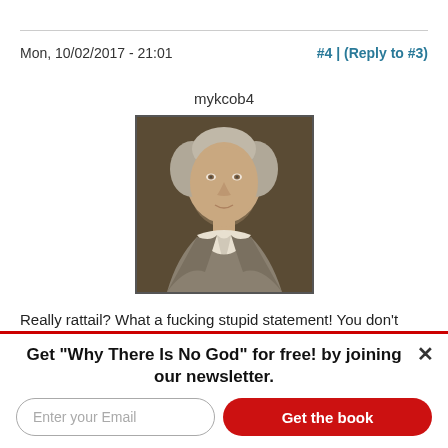Mon, 10/02/2017 - 21:01
#4 | (Reply to #3)
mykcob4
[Figure (photo): Portrait painting of an 18th-century man with gray-white hair, wearing a white cravat and gray coat, used as user avatar for mykcob4]
Really rattail? What a fucking stupid statement! You don't know what you are talking about. I know how to use a weapon. I am in fact, an expert. That guy was on the 32nd floor firing an automatic weapon. If you were there and you had a handgun you couldn't even come close to hitting him.
Get "Why There Is No God" for free! by joining our newsletter.
Enter your Email
Get the book